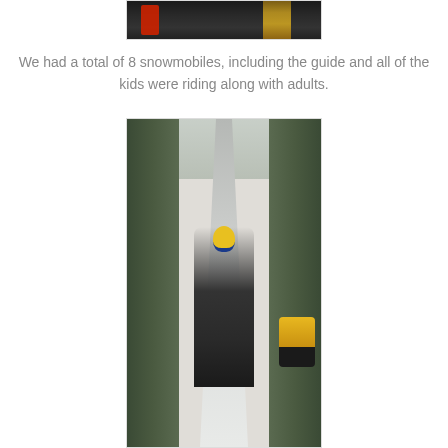[Figure (photo): Partial photo at top of page showing person(s) in dark winter clothing with long hair visible, cropped at the bottom of the frame]
We had a total of 8 snowmobiles, including the guide and all of the kids were riding along with adults.
[Figure (photo): Photo of a group of snowmobilers on a snow-covered trail lined with snow-covered trees. The closest rider wears a yellow and blue striped hat and black jacket. Multiple snowmobiles are lined up along the trail, with yellow snowmobiles visible on the right side. The trail extends into the distance with dense forest on both sides.]